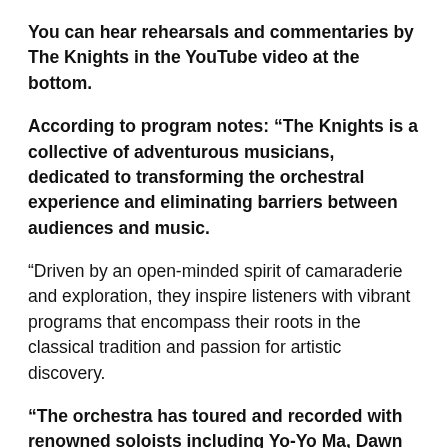You can hear rehearsals and commentaries by The Knights in the YouTube video at the bottom.
According to program notes: “The Knights is a collective of adventurous musicians, dedicated to transforming the orchestral experience and eliminating barriers between audiences and music.
“Driven by an open-minded spirit of camaraderie and exploration, they inspire listeners with vibrant programs that encompass their roots in the classical tradition and passion for artistic discovery.
“The orchestra has toured and recorded with renowned soloists including Yo-Yo Ma, Dawn Upshaw, Bela Fleck and Gil Shaham, and have performed at Carnegie Hall, Tanglewood and the Vienna Musikverein, Buckner...